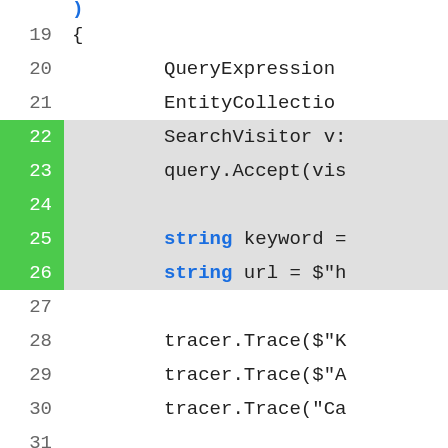[Figure (screenshot): Code editor screenshot showing C# source code lines 18-42 with line numbers on the left. Lines 22-26, 33-34, and 39 are highlighted with a green background on the line number column and a light gray background for the code area. Code includes SearchVisitor, query.Accept, string keyword, string url, tracer.Trace calls, a comment about API calls, var getAPIDataTask, Task.WaitAll, tracer.Trace for After, a comment about Parse API results, results = Extern, and tracer.Trace for Before.]